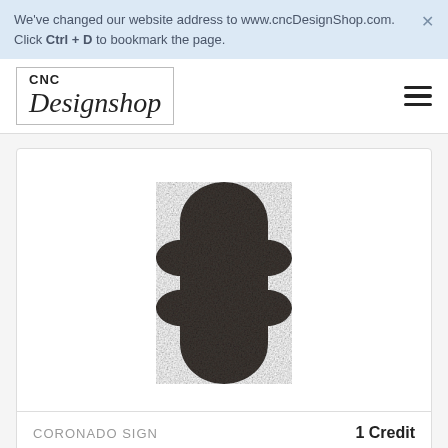We've changed our website address to www.cncDesignShop.com. Click Ctrl + D to bookmark the page.
[Figure (logo): CNC Designshop logo inside a rectangular border with 'CNC' in bold and 'Designshop' in italic serif font]
[Figure (illustration): A dark gray/charcoal decorative sign shape — a plaque with a rounded oval top, straight sides with scalloped concave corners at mid-height, and a rounded oval bottom, centered on white card]
CORONADO SIGN
1 Credit